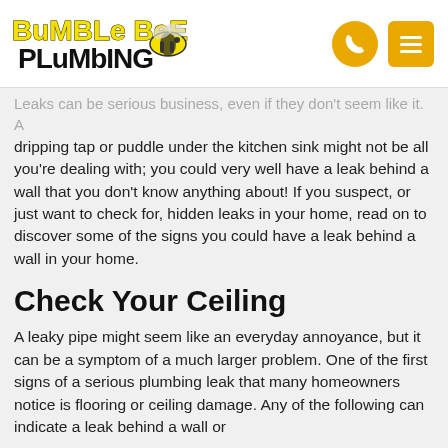[Figure (logo): Bumble Bee Plumbing logo with cartoon bee and bold text, plus phone and menu icons]
Leaks can be serious business, even if they don't seem like it. A dripping tap or puddle under the kitchen sink might not be all you're dealing with; you could very well have a leak behind a wall that you don't know anything about! If you suspect, or just want to check for, hidden leaks in your home, read on to discover some of the signs you could have a leak behind a wall in your home.
Check Your Ceiling
A leaky pipe might seem like an everyday annoyance, but it can be a symptom of a much larger problem. One of the first signs of a serious plumbing leak that many homeowners notice is flooring or ceiling damage. Any of the following can indicate a leak behind a wall or